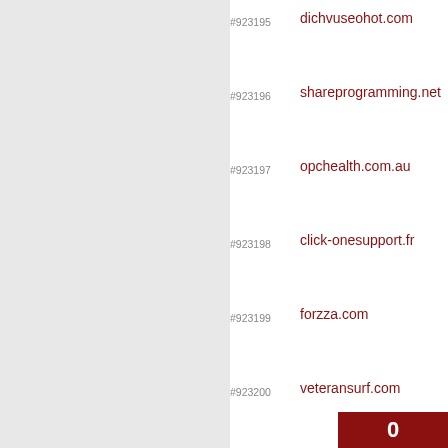#923195  dichvuseohot.com
#923196  shareprogramming.net
#923197  opchealth.com.au
#923198  click-onesupport.fr
#923199  forzza.com
#923200  veteransurf.com
#923201  fotocontest.it
#923202  grma.net
#923203  partireper.it
#923204  spermyporn.com
#923205  evilx.su
#923206  buscobienes.com
#923207  buscojobs.com.e
0